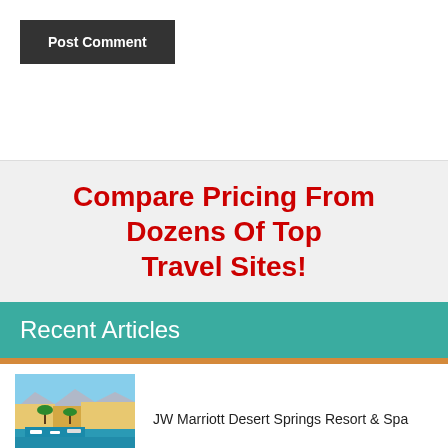Post Comment
Compare Pricing From Dozens Of Top Travel Sites!
Recent Articles
[Figure (photo): Aerial view of JW Marriott Desert Springs Resort & Spa with marina and blue water surrounded by resort buildings and palm trees]
JW Marriott Desert Springs Resort & Spa
[Figure (photo): Aerial or landscape photo partially visible at bottom of page]
Canada might be getting a 1,000 kph vacuum-